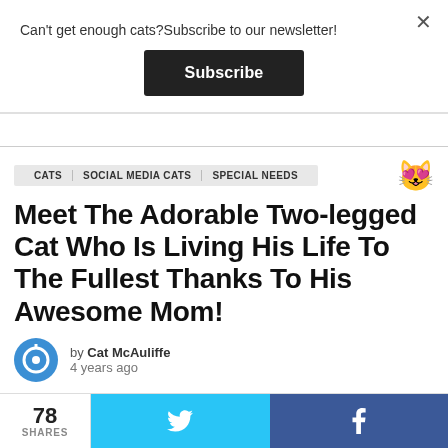Can't get enough cats?Subscribe to our newsletter!
Subscribe
CATS  SOCIAL MEDIA CATS  SPECIAL NEEDS
Meet The Adorable Two-legged Cat Who Is Living His Life To The Fullest Thanks To His Awesome Mom!
by Cat McAuliffe
4 years ago
78 SHARES